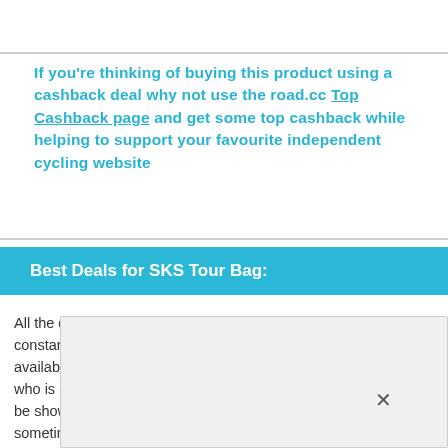If you're thinking of buying this product using a cashback deal why not use the road.cc Top Cashback page and get some top cashback while helping to support your favourite independent cycling website
Best Deals for SKS Tour Bag:
All the deals displayed on our review pages are pulled from a constantly updating database feed of the best affiliate deals available. The criteria for deciding on what are the best deals is who is offering the lowest, delivered price. In most cases we will be showing the very best deal available online, but sometimes may be ab st a link in e links d